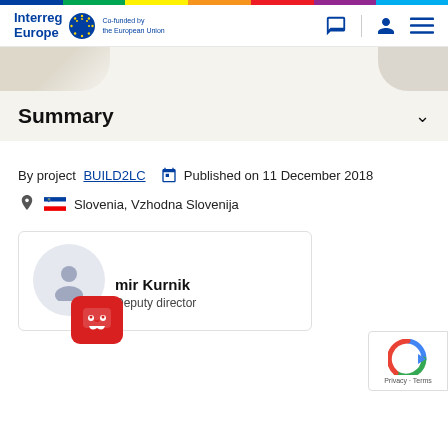[Figure (logo): Interreg Europe logo with EU flag and 'Co-funded by the European Union' text, plus navigation icons]
Summary
By project BUILD2LC   Published on 11 December 2018
Slovenia, Vzhodna Slovenija
[Figure (illustration): Person card with avatar placeholder showing a user silhouette, chatbot bubble icon, name ending in 'mir Kurnik', title 'Deputy director', and reCAPTCHA badge]
mir Kurnik
Deputy director